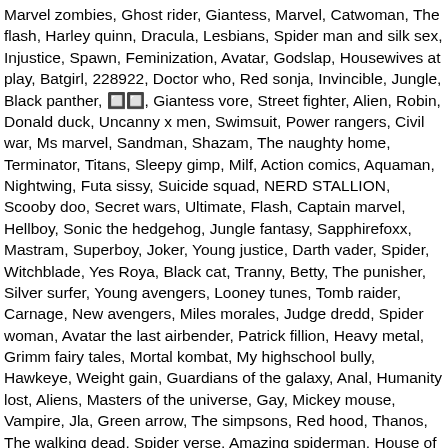Marvel zombies, Ghost rider, Giantess, Marvel, Catwoman, The flash, Harley quinn, Dracula, Lesbians, Spider man and silk sex, Injustice, Spawn, Feminization, Avatar, Godslap, Housewives at play, Batgirl, 228922, Doctor who, Red sonja, Invincible, Jungle, Black panther, 🔲🔲, Giantess vore, Street fighter, Alien, Robin, Donald duck, Uncanny x men, Swimsuit, Power rangers, Civil war, Ms marvel, Sandman, Shazam, The naughty home, Terminator, Titans, Sleepy gimp, Milf, Action comics, Aquaman, Nightwing, Futa sissy, Suicide squad, NERD STALLION, Scooby doo, Secret wars, Ultimate, Flash, Captain marvel, Hellboy, Sonic the hedgehog, Jungle fantasy, Sapphirefoxx, Mastram, Superboy, Joker, Young justice, Darth vader, Spider, Witchblade, Yes Roya, Black cat, Tranny, Betty, The punisher, Silver surfer, Young avengers, Looney tunes, Tomb raider, Carnage, New avengers, Miles morales, Judge dredd, Spider woman, Avatar the last airbender, Patrick fillion, Heavy metal, Grimm fairy tales, Mortal kombat, My highschool bully, Hawkeye, Weight gain, Guardians of the galaxy, Anal, Humanity lost, Aliens, Masters of the universe, Gay, Mickey mouse, Vampire, Jla, Green arrow, The simpsons, Red hood, Thanos, The walking dead, Spider verse, Amazing spiderman, House of m, Watchmen, Phantom, Girls, Dceased, The kept man strikes back, Penthouse, Spectacular spider man, Power girl, Adventure time, Kamen america, Zombie, Horror, Ghostbusters, Dc super hero girls, Betty and veronica, Justice league of america, and 1000+, The Shrinkin Boyfriend, Spider-gwen